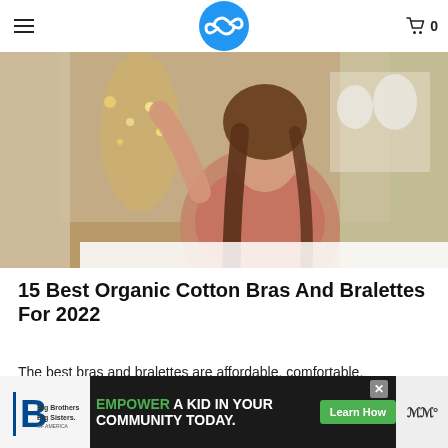≡  [logo]  🛒 0
[Figure (photo): Woman wearing a pink bralette reaching up toward a decorative light fixture in an elegant interior setting with china displayed in the background]
15 Best Organic Cotton Bras And Bralettes For 2022
The best bras and bralettes are affordable, comfortable, sustainable, and ethically made from
[Figure (infographic): Advertisement banner: Big Brothers Big Sisters of America logo on left, green text 'EMPOWER A KID IN YOUR COMMUNITY TODAY.' with 'Learn How' green button, and weather widget on right]